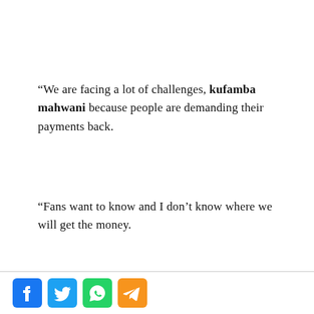“We are facing a lot of challenges, kufamba mahwani because people are demanding their payments back.
“Fans want to know and I don’t know where we will get the money.
[Figure (other): Social media share icons: Facebook (blue), Twitter (blue bird), WhatsApp (green), Telegram (orange/yellow)]